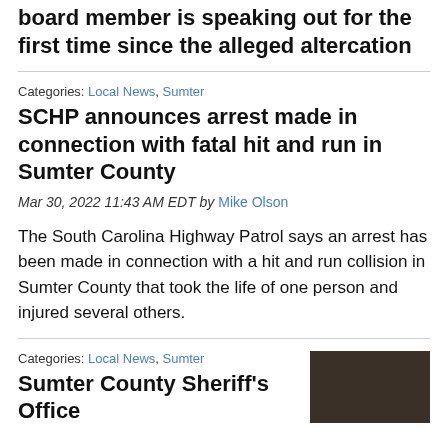board member is speaking out for the first time since the alleged altercation
Categories: Local News, Sumter
SCHP announces arrest made in connection with fatal hit and run in Sumter County
Mar 30, 2022 11:43 AM EDT by Mike Olson
The South Carolina Highway Patrol says an arrest has been made in connection with a hit and run collision in Sumter County that took the life of one person and injured several others.
Categories: Local News, Sumter
Sumter County Sheriff's Office
[Figure (photo): Dark photograph, appears to show outdoor scene]